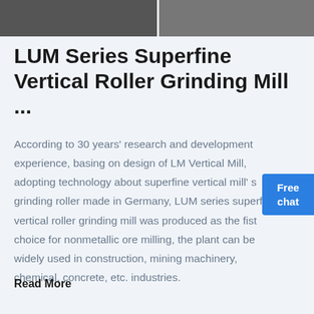[Figure (photo): Two industrial machinery/mill images side by side at top of page]
LUM Series Superfine Vertical Roller Grinding Mill ...
According to 30 years' research and development experience, basing on design of LM Vertical Mill, adopting technology about superfine vertical mill' s grinding roller made in Germany, LUM series superfine vertical roller grinding mill was produced as the fist choice for nonmetallic ore milling, the plant can be widely used in construction, mining machinery, chemical, concrete, etc. industries.
Read More